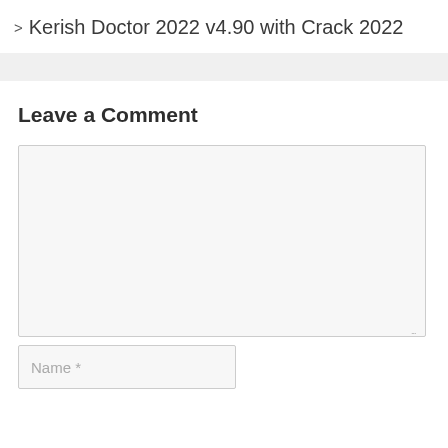> Kerish Doctor 2022 v4.90 with Crack 2022
Leave a Comment
[Comment text area]
Name *